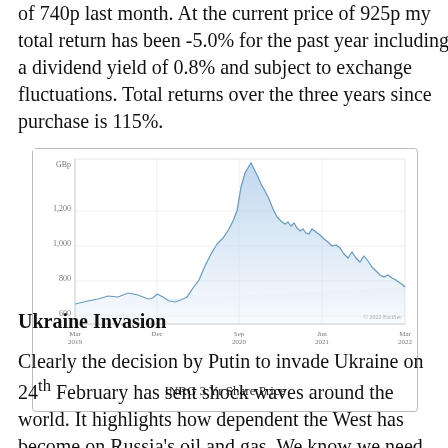of 740p last month. At the current price of 925p my total return has been -5.0% for the past year including a dividend yield of 0.8% and subject to exchange fluctuations. Total returns over the three years since purchase is 115%.
[Figure (continuous-plot): Area/line chart showing INRG share price over 3 years from Mar 2019 to Mar 2022. Price starts around 630p, rises sharply to a peak around 1,400p in early 2021, then declines to around 900p by Mar 2022. Y-axis shows GBp values: 600, 800, 1,000, 1,200, GBp. X-axis shows dates: Mar 2019, Dec, Sep 2020, Jun 2021, Mar 2022.]
INRG 3 Yr Share Price
Ukraine Invasion
Clearly the decision by Putin to invade Ukraine on 24th February has sent shock waves around the world. It highlights how dependent the West has become on Russia's oil and gas. We know we need to move away from fossil fuels to address the climate crisis and this is trouble some as they